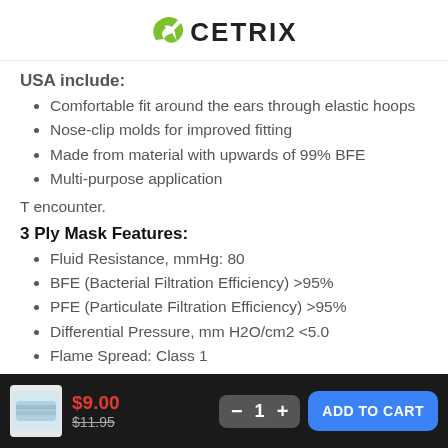CETRIX
USA include:
Comfortable fit around the ears through elastic hoops
Nose-clip molds for improved fitting
Made from material with upwards of 99% BFE
Multi-purpose application
T encounter.
3 Ply Mask Features:
Fluid Resistance, mmHg: 80
BFE (Bacterial Filtration Efficiency) >95%
PFE (Particulate Filtration Efficiency) >95%
Differential Pressure, mm H2O/cm2 <5.0
Flame Spread: Class 1
Elastic loops fit comfortably around ears